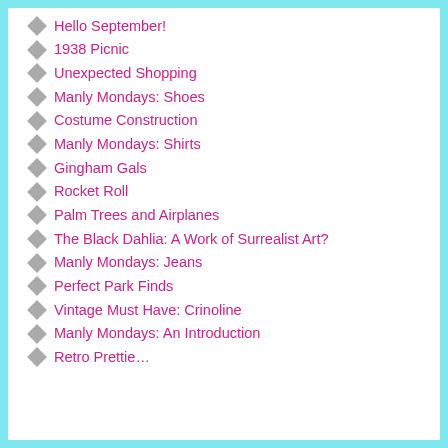Hello September!
1938 Picnic
Unexpected Shopping
Manly Mondays: Shoes
Costume Construction
Manly Mondays: Shirts
Gingham Gals
Rocket Roll
Palm Trees and Airplanes
The Black Dahlia: A Work of Surrealist Art?
Manly Mondays: Jeans
Perfect Park Finds
Vintage Must Have: Crinoline
Manly Mondays: An Introduction
Retro Prettie…